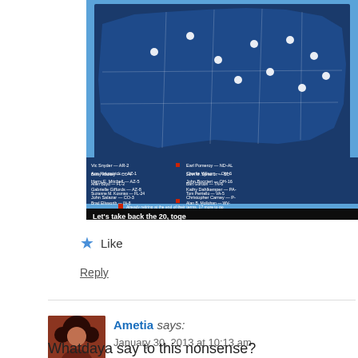[Figure (map): US map showing Democratic congressional districts with names listed below, with 'Let's take back the 20, together' text and 'JOIN ME TODAY' call to action]
Like
Reply
Ametia says: January 30, 2013 at 10:13 am
Whatdaya say to this nonsense?